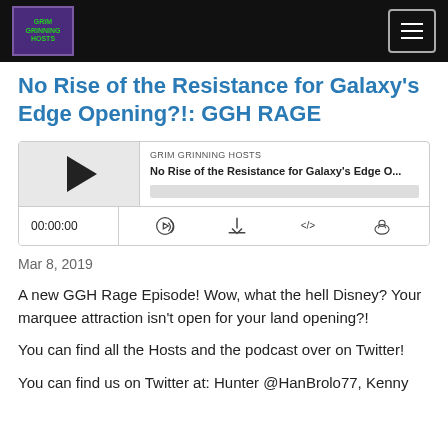Grim Grinning Hosts — navigation header
No Rise of the Resistance for Galaxy's Edge Opening?!: GGH RAGE
[Figure (screenshot): Podcast audio player widget showing GRIM GRINNING HOSTS podcast, episode 'No Rise of the Resistance for Galaxy's Edge O...', with play button, progress bar, time display 00:00:00, and control icons for RSS, download, embed, and another option.]
Mar 8, 2019
A new GGH Rage Episode! Wow, what the hell Disney? Your marquee attraction isn't open for your land opening?!
You can find all the Hosts and the podcast over on Twitter!
You can find us on Twitter at: Hunter @HanBrolo77, Kenny